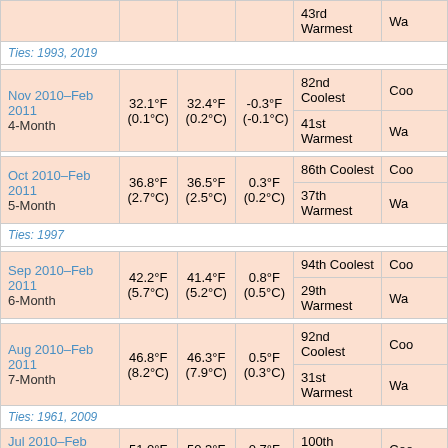| Period | Actual Temp | Normal Temp | Departure | Rank (Cool) | Rank (Warm) |
| --- | --- | --- | --- | --- | --- |
|  |  |  |  | 43rd Warmest | Wa... |
| Ties: 1993, 2019 |  |  |  |  |  |
| Nov 2010–Feb 2011 4-Month | 32.1°F (0.1°C) | 32.4°F (0.2°C) | -0.3°F (-0.1°C) | 82nd Coolest | Coo... |
|  |  |  |  | 41st Warmest | Wa... |
| Oct 2010–Feb 2011 5-Month | 36.8°F (2.7°C) | 36.5°F (2.5°C) | 0.3°F (0.2°C) | 86th Coolest | Coo... |
|  |  |  |  | 37th Warmest | Wa... |
| Ties: 1997 |  |  |  |  |  |
| Sep 2010–Feb 2011 6-Month | 42.2°F (5.7°C) | 41.4°F (5.2°C) | 0.8°F (0.5°C) | 94th Coolest | Coo... |
|  |  |  |  | 29th Warmest | Wa... |
| Aug 2010–Feb 2011 7-Month | 46.8°F (8.2°C) | 46.3°F (7.9°C) | 0.5°F (0.3°C) | 92nd Coolest | Coo... |
|  |  |  |  | 31st Warmest | Wa... |
| Ties: 1961, 2009 |  |  |  |  |  |
| Jul 2010–Feb 2011 | 51.0°F | 50.3°F | 0.7°F | 100th Coolest | Coo... |